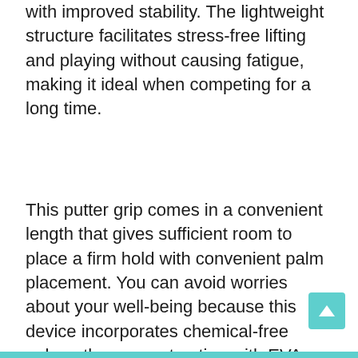with improved stability. The lightweight structure facilitates stress-free lifting and playing without causing fatigue, making it ideal when competing for a long time.
This putter grip comes in a convenient length that gives sufficient room to place a firm hold with convenient palm placement. You can avoid worries about your well-being because this device incorporates chemical-free polyurethane construction with EVA foam components. These high-strength and premium materials support longevity, enabling you to participate in multiple games for a long time without tearing.